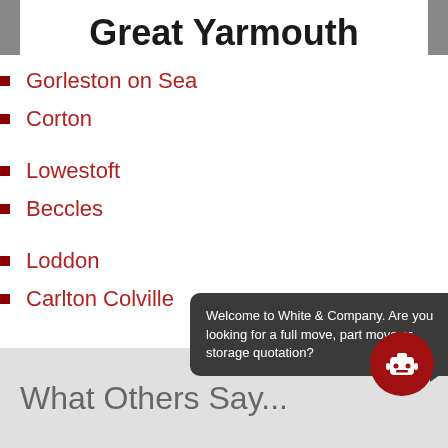Great Yarmouth
Gorleston on Sea
Corton
Lowestoft
Beccles
Loddon
Carlton Colville
Welcome to White & Company. Are you looking for a full move, part move or storage quotation?
What Others Say...